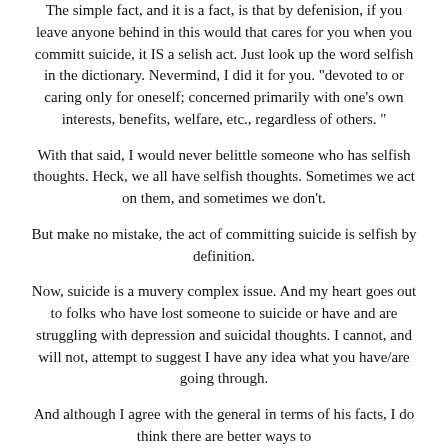The simple fact, and it is a fact, is that by defenision, if you leave anyone behind in this would that cares for you when you committ suicide, it IS a selish act. Just look up the word selfish in the dictionary. Nevermind, I did it for you. "devoted to or caring only for oneself; concerned primarily with one's own interests, benefits, welfare, etc., regardless of others. "
With that said, I would never belittle someone who has selfish thoughts. Heck, we all have selfish thoughts. Sometimes we act on them, and sometimes we don't.
But make no mistake, the act of committing suicide is selfish by definition.
Now, suicide is a muvery complex issue. And my heart goes out to folks who have lost someone to suicide or have and are struggling with depression and suicidal thoughts. I cannot, and will not, attempt to suggest I have any idea what you have/are going through.
And although I agree with the general in terms of his facts, I do think there are better ways to